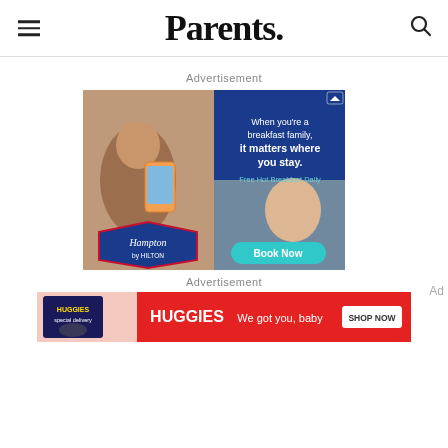Parents.
Advertisement
[Figure (photo): Hampton by Hilton advertisement showing a father photographing his family at breakfast, a child eating, Hampton by Hilton logo, text 'When you're a breakfast family, it matters where you stay. Free Hot Breakfast Daily', and a 'Book Now' button.]
Advertisement
[Figure (photo): Huggies advertisement with red background showing 'HUGGIES We got you, baby' with a Shop Now button and a Huggies Special Delivery package image.]